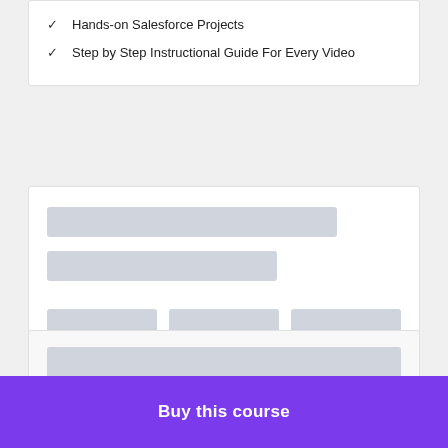Hands-on Salesforce Projects
Step by Step Instructional Guide For Every Video
[Figure (screenshot): Skeleton/placeholder card with two horizontal gray bars and three equal-width gray blocks in a row below]
[Figure (screenshot): Skeleton/placeholder card with a large wide gray block and a shorter gray bar below it]
Buy this course